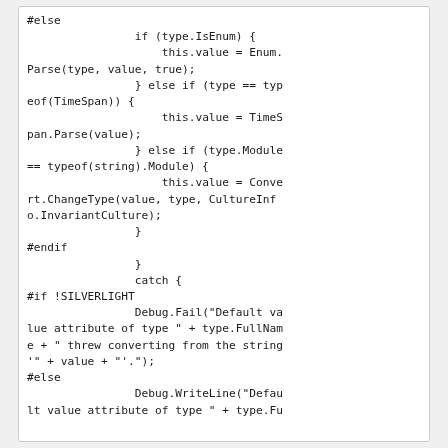#else
                if (type.IsEnum) {
                    this.value = Enum.Parse(type, value, true);
                } else if (type == typeof(TimeSpan)) {
                    this.value = TimeSpan.Parse(value);
                } else if (type.Module == typeof(string).Module) {
                    this.value = Convert.ChangeType(value, type, CultureInfo.InvariantCulture);
                }
#endif
                }
                catch {
#if !SILVERLIGHT
                Debug.Fail("Default value attribute of type " + type.FullName + " threw converting from the string '" + value + "'.");
#else
                Debug.WriteLine("Default value attribute of type " + type.Fu